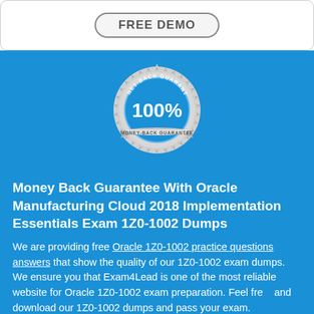[Figure (illustration): Money-back guarantee seal/badge with sunburst border, '100%' in center, 'MONEY-BACK GUARANTEE' text on ribbon and arc]
Money Back Guarantee With Oracle Manufacturing Cloud 2018 Implementation Essentials Exam 1Z0-1002 Dumps
We are providing free Oracle 1Z0-1002 practice questions answers that show the quality of our 1Z0-1002 exam dumps. We ensure you that Exam4Lead is one of the most reliable website for Oracle 1Z0-1002 exam preparation. Feel free and download our 1Z0-1002 dumps and pass your exam.